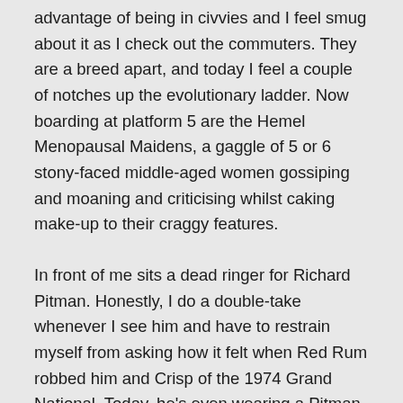advantage of being in civvies and I feel smug about it as I check out the commuters. They are a breed apart, and today I feel a couple of notches up the evolutionary ladder. Now boarding at platform 5 are the Hemel Menopausal Maidens, a gaggle of 5 or 6 stony-faced middle-aged women gossiping and moaning and criticising whilst caking make-up to their craggy features.
In front of me sits a dead ringer for Richard Pitman. Honestly, I do a double-take whenever I see him and have to restrain myself from asking how it felt when Red Rum robbed him and Crisp of the 1974 Grand National. Today, he's even wearing a Pitman-esque Navy blazer with brass buttons and a pair of grey flannels. He's probably more rotund than our TV race-day host, but he sports the same over-size glasses, balding head and signet ring on the little finger. He's accompanied by a youth with a case of bad body language. Looky-likey turns to the youth and in a voice far